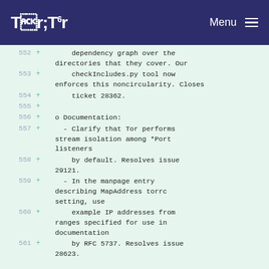Tor Menu
552 +       dependency graph over the
    directories that they cover. Our
553 +       checkIncludes.py tool now
    enforces this noncircularity. Closes
554 +       ticket 28362.
555 +
556 +   o Documentation:
557 +     - Clarify that Tor performs
    stream isolation among *Port
    listeners
558 +       by default. Resolves issue
    29121.
559 +     - In the manpage entry
    describing MapAddress torrc
    setting, use
560 +       example IP addresses from
    ranges specified for use in
    documentation
561 +       by RFC 5737. Resolves issue
    28623.